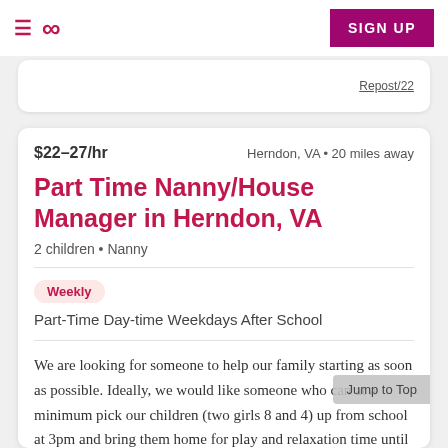≡ ∞ SIGN UP
$22–27/hr   Herndon, VA • 20 miles away
Part Time Nanny/House Manager in Herndon, VA
2 children • Nanny
Weekly
Part-Time Day-time Weekdays After School
We are looking for someone to help our family starting as soon as possible. Ideally, we would like someone who can at a minimum pick our children (two girls 8 and 4) up from school at 3pm and bring them home for play and relaxation time until we finish work.